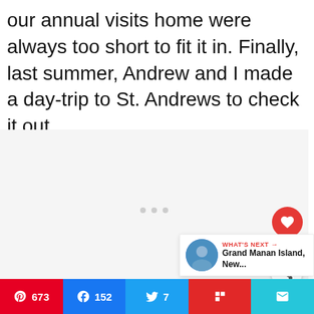our annual visits home were always too short to fit it in. Finally, last summer, Andrew and I made a day-trip to St. Andrews to check it out.
[Figure (photo): Large image placeholder area with three gray dots indicating a loading or carousel image]
WHAT'S NEXT → Grand Manan Island, New...
673 152 7 (share bar: Pinterest, Facebook, Twitter, Flipboard, Email)